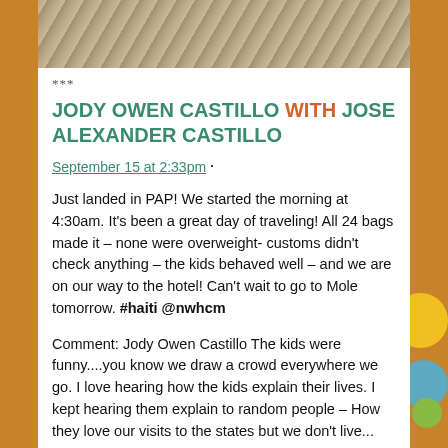[Figure (photo): Top portion of a sandy/earthy textured photo, partially cropped at the top of the card]
***
JODY OWEN CASTILLO WITH JOSE ALEXANDER CASTILLO
September 15 at 2:33pm ·
Just landed in PAP! We started the morning at 4:30am. It's been a great day of traveling! All 24 bags made it – none were overweight- customs didn't check anything – the kids behaved well – and we are on our way to the hotel! Can't wait to go to Mole tomorrow. #haiti @nwhcm
Comment: Jody Owen Castillo The kids were funny....you know we draw a crowd everywhere we go. I love hearing how the kids explain their lives. I kept hearing them explain to random people – How they love our visits to the states but we don't live...